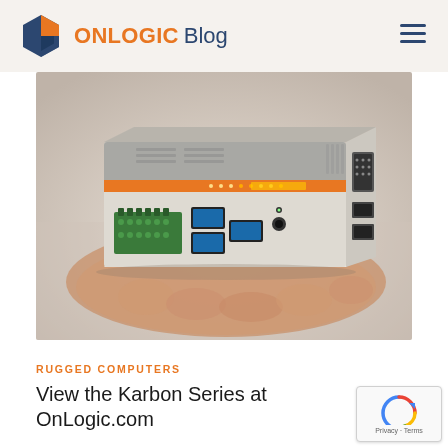ONLOGIC Blog
[Figure (photo): A hand holding a small rugged industrial computer (OnLogic Karbon series) showing its front panel with USB ports, green terminal connectors, audio jack, and orange accent strip, with additional ports visible on the side.]
RUGGED COMPUTERS
View the Karbon Series at OnLogic.com